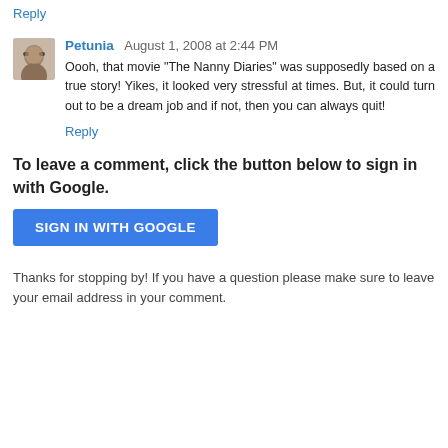Reply
Petunia  August 1, 2008 at 2:44 PM
Oooh, that movie "The Nanny Diaries" was supposedly based on a true story! Yikes, it looked very stressful at times. But, it could turn out to be a dream job and if not, then you can always quit!
Reply
To leave a comment, click the button below to sign in with Google.
SIGN IN WITH GOOGLE
Thanks for stopping by! If you have a question please make sure to leave your email address in your comment.